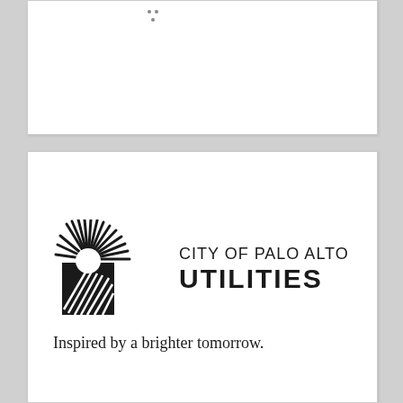[Figure (other): Top white card with three small dots arranged in a triangular pattern, suggesting a drag handle or decorative element]
[Figure (logo): City of Palo Alto Utilities logo: black square with radiating sun rays forming a semicircle above, next to text reading CITY OF PALO ALTO UTILITIES, with tagline Inspired by a brighter tomorrow.]
Inspired by a brighter tomorrow.